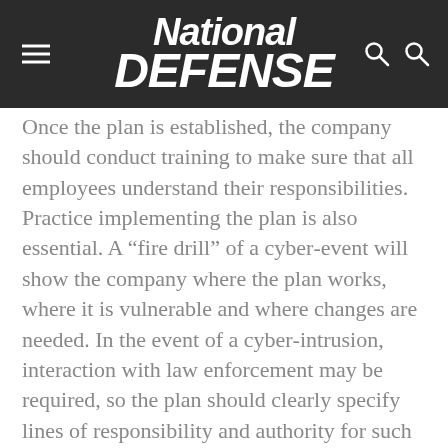National Defense
Once the plan is established, the company should conduct training to make sure that all employees understand their responsibilities. Practice implementing the plan is also essential. A “fire drill” of a cyber-event will show the company where the plan works, where it is vulnerable and where changes are needed. In the event of a cyber-intrusion, interaction with law enforcement may be required, so the plan should clearly specify lines of responsibility and authority for such interactions.
Cyber-attacks are becoming the “new normal” of enterprise. The remainder of this...